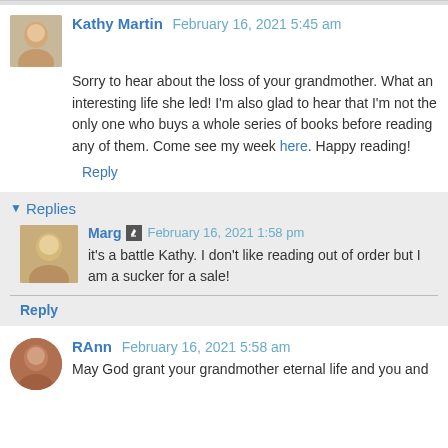Kathy Martin February 16, 2021 5:45 am
Sorry to hear about the loss of your grandmother. What an interesting life she led! I'm also glad to hear that I'm not the only one who buys a whole series of books before reading any of them. Come see my week here. Happy reading!
Reply
Replies
Marg February 16, 2021 1:58 pm
it's a battle Kathy. I don't like reading out of order but I am a sucker for a sale!
Reply
RAnn February 16, 2021 5:58 am
May God grant your grandmother eternal life and you and